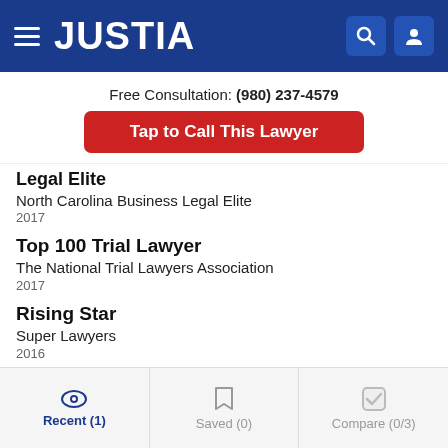JUSTIA
Free Consultation: (980) 237-4579
Tap to Call This Lawyer
Legal Elite
North Carolina Business Legal Elite
2017
Top 100 Trial Lawyer
The National Trial Lawyers Association
2017
Rising Star
Super Lawyers
2016
Legal Elite
Recent (1)  Saved (0)  Compare (0/3)